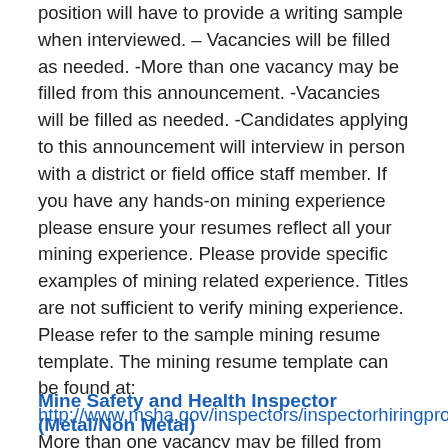position will have to provide a writing sample when interviewed. – Vacancies will be filled as needed. -More than one vacancy may be filled from this announcement. -Vacancies will be filled as needed. -Candidates applying to this announcement will interview in person with a district or field office staff member. If you have any hands-on mining experience please ensure your resumes reflect all your mining experience. Please provide specific examples of mining related experience. Titles are not sufficient to verify mining experience. Please refer to the sample mining resume template. The mining resume template can be found at: http://www.msha.gov/inspectors/inspectorhiringprogram.asp More than one vacancy may be filled from this announcement.
Mine Safety and Health Inspector (Metal/Non Metal)